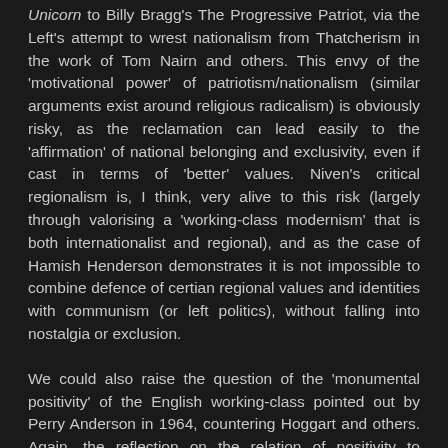Unicorn to Billy Bragg's The Progressive Patriot, via the Left's attempt to wrest nationalism from Thatcherism in the work of Tom Nairn and others. This envy of the 'motivational power' of patriotism/nationalism (similar arguments exist around religious radicalism) is obviously risky, as the reclamation can lead easily to the 'affirmation' of national belonging and exclusivity, even if cast in terms of 'better' values. Niven's critical regionalism is, I think, very alive to this risk (largely through valorising a 'working-class modernism' that is both internationalist and regional), and as the case of Hamish Henderson demonstrates it is not impossible to combine defence of certian regional values and identities with communism (or left politics), without falling into nostalgia or exclusion.
We could also raise the question of the 'monumental positivity' of the English working-class pointed out by Perry Anderson in 1964, countering Hoggart and others. Again, the reflection on the relation of positivity to negativity in the formation and destruction of class identity might involve more consideration of the complex relation between these terms. In fact, the rush to negation might need to be